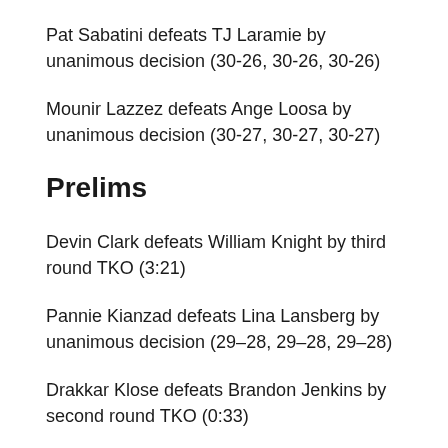Pat Sabatini defeats TJ Laramie by unanimous decision (30-26, 30-26, 30-26)
Mounir Lazzez defeats Ange Loosa by unanimous decision (30-27, 30-27, 30-27)
Prelims
Devin Clark defeats William Knight by third round TKO (3:21)
Pannie Kianzad defeats Lina Lansberg by unanimous decision (29–28, 29–28, 29–28)
Drakkar Klose defeats Brandon Jenkins by second round TKO (0:33)
Rafa Garcia defeats Jesse Ronson by second round rear